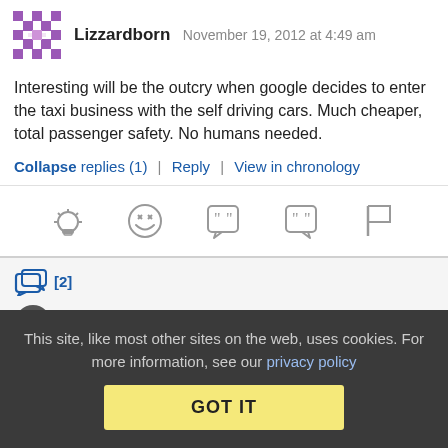Lizzardborn  November 19, 2012 at 4:49 am
Interesting will be the outcry when google decides to enter the taxi business with the self driving cars. Much cheaper, total passenger safety. No humans needed.
Collapse replies (1)  |  Reply  |  View in chronology
[Figure (infographic): Row of 5 reaction icons: lightbulb, laughing face, quote bubble, quote bubble variant, flag]
[2]
This site, like most other sites on the web, uses cookies. For more information, see our privacy policy  GOT IT